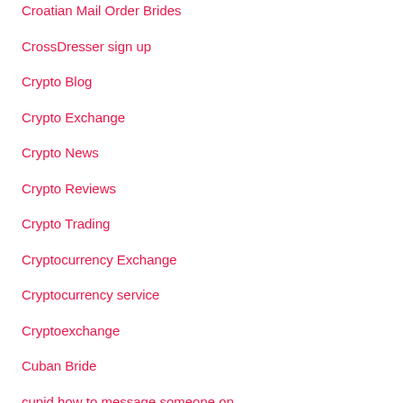Croatian Mail Order Brides
CrossDresser sign up
Crypto Blog
Crypto Exchange
Crypto News
Crypto Reviews
Crypto Trading
Cryptocurrency Exchange
Cryptocurrency service
Cryptoexchange
Cuban Bride
cupid how to message someone on
cupid reviews